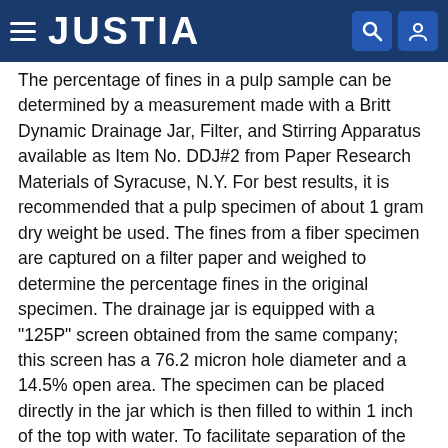JUSTIA
The percentage of fines in a pulp sample can be determined by a measurement made with a Britt Dynamic Drainage Jar, Filter, and Stirring Apparatus available as Item No. DDJ#2 from Paper Research Materials of Syracuse, N.Y. For best results, it is recommended that a pulp specimen of about 1 gram dry weight be used. The fines from a fiber specimen are captured on a filter paper and weighed to determine the percentage fines in the original specimen. The drainage jar is equipped with a "125P" screen obtained from the same company; this screen has a 76.2 micron hole diameter and a 14.5% open area. The specimen can be placed directly in the jar which is then filled to within 1 inch of the top with water. To facilitate separation of the fines, 1 ml of a dispersing solution consisting of 2.5% each of sodium carbonate, sodium tripolyphosphate, and TAMOL 850 surfactant available from Rohm and